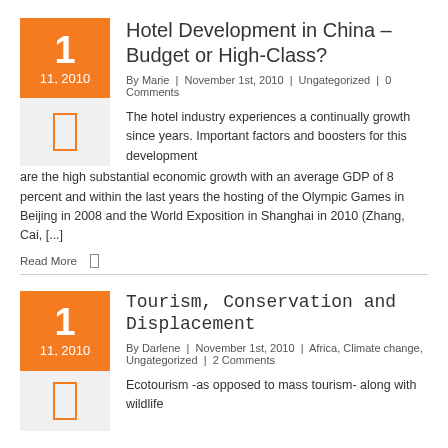Hotel Development in China – Budget or High-Class?
By Marie | November 1st, 2010 | Ungategorized | 0 Comments
The hotel industry experiences a continually growth since years. Important factors and boosters for this development are the high substantial economic growth with an average GDP of 8 percent and within the last years the hosting of the Olympic Games in Beijing in 2008 and the World Exposition in Shanghai in 2010 (Zhang, Cai, [...]
Read More
Tourism, Conservation and Displacement
By Darlene | November 1st, 2010 | Africa, Climate change, Ungategorized | 2 Comments
Ecotourism -as opposed to mass tourism- along with wildlife